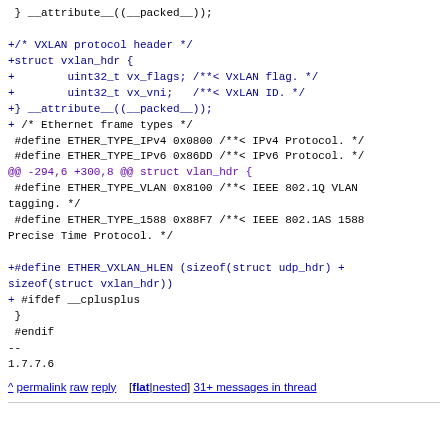} __attribute__((__packed__));

+/* VXLAN protocol header */
+struct vxlan_hdr {
+        uint32_t vx_flags; /**< VxLAN flag. */
+        uint32_t vx_vni;   /**< VxLAN ID. */
+} __attribute__((__packed__));
+
 /* Ethernet frame types */
 #define ETHER_TYPE_IPv4 0x0800 /**< IPv4 Protocol. */
 #define ETHER_TYPE_IPv6 0x86DD /**< IPv6 Protocol. */
@@ -294,6 +300,8 @@ struct vlan_hdr {
 #define ETHER_TYPE_VLAN 0x8100 /**< IEEE 802.1Q VLAN tagging. */
 #define ETHER_TYPE_1588 0x88F7 /**< IEEE 802.1AS 1588 Precise Time Protocol. */

+#define ETHER_VXLAN_HLEN (sizeof(struct udp_hdr) + sizeof(struct vxlan_hdr))
+
 #ifdef __cplusplus
 }
 #endif
--
1.7.7.6
^ permalink raw reply [flat|nested] 31+ messages in thread